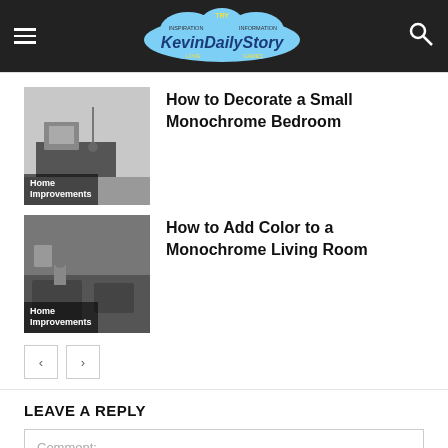KevinDailyStory — navigation header with hamburger menu and search icon
[Figure (photo): Black and white photo of a small monochrome bedroom with dark furniture and pendant lights. Label overlay reads 'Home Improvements']
How to Decorate a Small Monochrome Bedroom
[Figure (photo): Black and white photo of a monochrome living room with dark walls and decorative items. Label overlay reads 'Home Improvements']
How to Add Color to a Monochrome Living Room
< >  (pagination buttons)
LEAVE A REPLY
Comment: